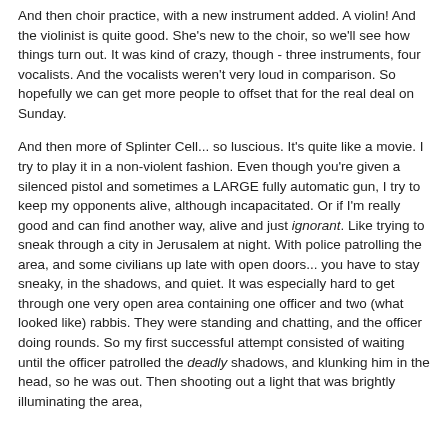And then choir practice, with a new instrument added. A violin! And the violinist is quite good. She's new to the choir, so we'll see how things turn out. It was kind of crazy, though - three instruments, four vocalists. And the vocalists weren't very loud in comparison. So hopefully we can get more people to offset that for the real deal on Sunday.
And then more of Splinter Cell... so luscious. It's quite like a movie. I try to play it in a non-violent fashion. Even though you're given a silenced pistol and sometimes a LARGE fully automatic gun, I try to keep my opponents alive, although incapacitated. Or if I'm really good and can find another way, alive and just ignorant. Like trying to sneak through a city in Jerusalem at night. With police patrolling the area, and some civilians up late with open doors... you have to stay sneaky, in the shadows, and quiet. It was especially hard to get through one very open area containing one officer and two (what looked like) rabbis. They were standing and chatting, and the officer doing rounds. So my first successful attempt consisted of waiting until the officer patrolled the deadly shadows, and klunking him in the head, so he was out. Then shooting out a light that was brightly illuminating the area,